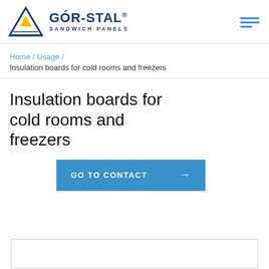[Figure (logo): GÓR-STAL Sandwich Panels logo with triangle/mountain icon and hamburger menu icon]
Home / Usage / Insulation boards for cold rooms and freezers
Insulation boards for cold rooms and freezers
GO TO CONTACT →
[Figure (other): Empty bordered box at the bottom of the page]